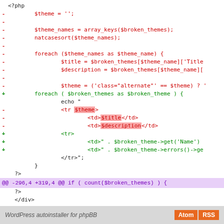[Figure (screenshot): Code diff view showing PHP code changes. Lines prefixed with '-' in red show removed code and lines prefixed with '+' in green show added code. Includes highlighted spans for $theme, $title, $description (red highlights) and ABSPATH path string (green highlight). A purple diff hunk header shows '@@ -296,4 +319,4 @@ if ( count($broken_themes) ) {'. Bottom footer bar shows 'WordPress autoinstaller for phpBB' with Atom and RSS buttons in orange.]